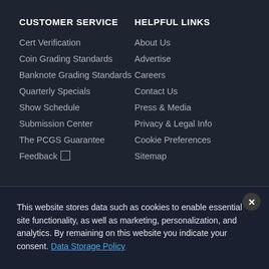CUSTOMER SERVICE
Cert Verification
Coin Grading Standards
Banknote Grading Standards
Quarterly Specials
Show Schedule
Submission Center
The PCGS Guarantee
Feedback
HELPFUL LINKS
About Us
Advertise
Careers
Contact Us
Press & Media
Privacy & Legal Info
Cookie Preferences
Sitemap
This website stores data such as cookies to enable essential site functionality, as well as marketing, personalization, and analytics. By remaining on this website you indicate your consent. Data Storage Policy